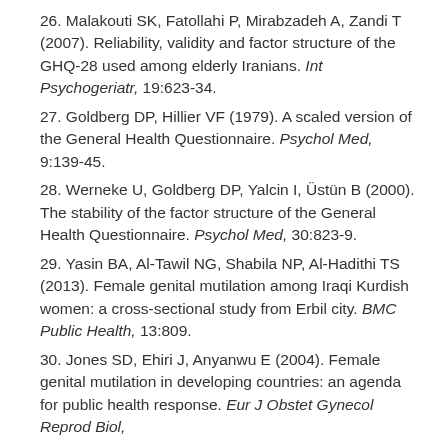26. Malakouti SK, Fatollahi P, Mirabzadeh A, Zandi T (2007). Reliability, validity and factor structure of the GHQ-28 used among elderly Iranians. Int Psychogeriatr, 19:623-34.
27. Goldberg DP, Hillier VF (1979). A scaled version of the General Health Questionnaire. Psychol Med, 9:139-45.
28. Werneke U, Goldberg DP, Yalcin I, Üstün B (2000). The stability of the factor structure of the General Health Questionnaire. Psychol Med, 30:823-9.
29. Yasin BA, Al-Tawil NG, Shabila NP, Al-Hadithi TS (2013). Female genital mutilation among Iraqi Kurdish women: a cross-sectional study from Erbil city. BMC Public Health, 13:809.
30. Jones SD, Ehiri J, Anyanwu E (2004). Female genital mutilation in developing countries: an agenda for public health response. Eur J Obstet Gynecol Reprod Biol,